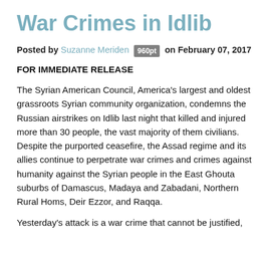War Crimes in Idlib
Posted by Suzanne Meriden 960pt on February 07, 2017
FOR IMMEDIATE RELEASE
The Syrian American Council, America's largest and oldest grassroots Syrian community organization, condemns the Russian airstrikes on Idlib last night that killed and injured more than 30 people, the vast majority of them civilians. Despite the purported ceasefire, the Assad regime and its allies continue to perpetrate war crimes and crimes against humanity against the Syrian people in the East Ghouta suburbs of Damascus, Madaya and Zabadani, Northern Rural Homs, Deir Ezzor, and Raqqa.
Yesterday's attack is a war crime that cannot be justified,